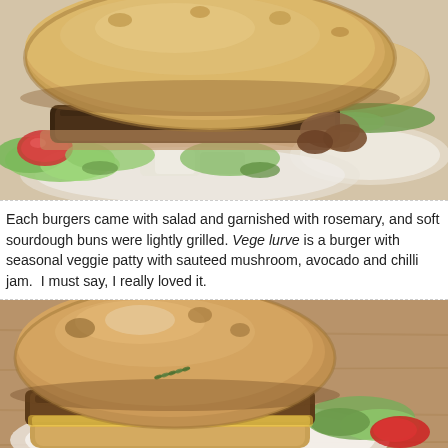[Figure (photo): Close-up photo of a veggie burger on a sourdough bun with salad, tomato, lettuce, and avocado visible, served on a white plate. A second burger is visible in the background.]
Each burgers came with salad and garnished with rosemary, and soft sourdough buns were lightly grilled. Vege lurve is a burger with seasonal veggie patty with sauteed mushroom, avocado and chilli jam.  I must say, I really loved it.
[Figure (photo): Close-up photo of another veggie burger on a round sourdough bun with filling visible including red pepper and green garnish, served on a white plate on a wooden table.]